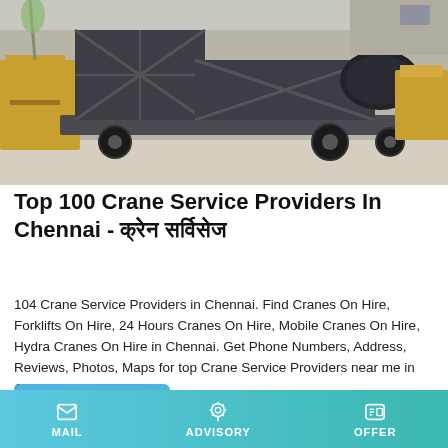[Figure (photo): Mobile construction/industrial equipment (appears to be a mobile crushing or concrete plant) on a yard, gray steel frame on wheels with a cylindrical drum, with yellow construction equipment in background]
Top 100 Crane Service Providers In Chennai - क्रेन सर्विसेज
104 Crane Service Providers in Chennai. Find Cranes On Hire, Forklifts On Hire, 24 Hours Cranes On Hire, Mobile Cranes On Hire, Hydra Cranes On Hire in Chennai. Get Phone Numbers, Address, Reviews, Photos, Maps for top Crane Service Providers near me in Chennai on Justdial.
Learn More
MAIL | ADVISORY | OFFER